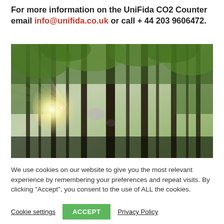For more information on the UniFida CO2 Counter email info@unifida.co.uk or call + 44 203 9606472.
[Figure (photo): Upward view through tall forest trees with sunlight streaming through the canopy, lush green foliage visible against bright sky]
We use cookies on our website to give you the most relevant experience by remembering your preferences and repeat visits. By clicking “Accept”, you consent to the use of ALL the cookies.
Cookie settings   ACCEPT   Privacy Policy